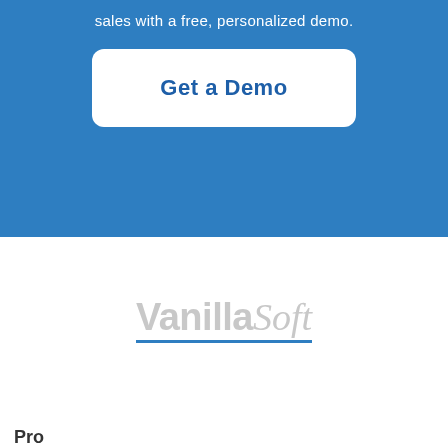sales with a free, personalized demo.
Get a Demo
[Figure (logo): VanillaSoft logo in gray with blue underline]
Pro